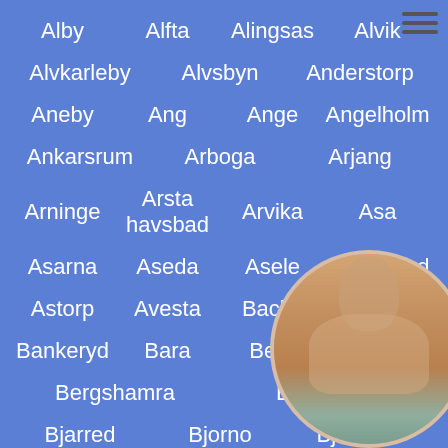Alby   Alfta   Alingsas   Alvik
Alvkarleby   Alvsbyn   Anderstorp
Aneby   Ang   Ange   Angelholm
Ankarsrum   Arboga   Arjang
Arninge   Arsta havsbad   Arvika   Asa
Asarna   Aseda   Asele   Askersund
Astorp   Avesta   Backa   Backe
Bankeryd   Bara   Berg   Berga
Bergshamra   Billeberga
Bjarred   Bjorno   Bjurholm
Bollnas   Bor   Boras   Borgholm
[Figure (photo): Circular cropped photo of a person in the lower right corner]